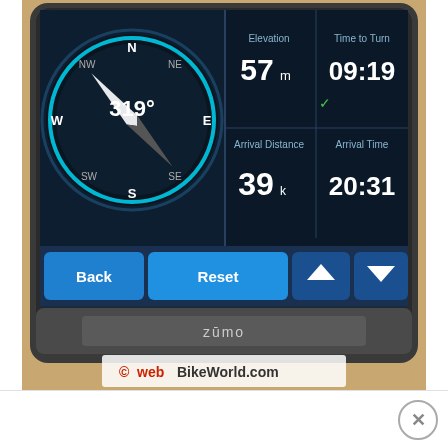[Figure (photo): Photo of a Garmin Zümo GPS device screen showing trip computer data: compass pointing 319° NW, Elevation 57m, Time to Turn 09:19, Arrival Distance 39k, Arrival Time 20:31. Bottom shows Back, Reset, and arrow buttons. Device branded 'zümo'. Watermark: © webBikeWorld.com]